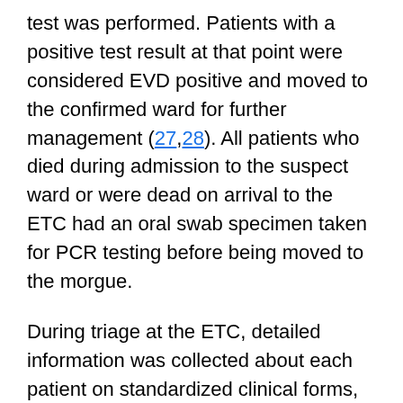test was performed. Patients with a positive test result at that point were considered EVD positive and moved to the confirmed ward for further management (27,28). All patients who died during admission to the suspect ward or were dead on arrival to the ETC had an oral swab specimen taken for PCR testing before being moved to the morgue.
During triage at the ETC, detailed information was collected about each patient on standardized clinical forms, which included demographics, symptoms, potential contact with a suspected or confirmed EVD individual, comorbidities, and self-reported Ebola vaccination status. During ETC admission, protocol based care was provided. Patients were discharged from the ETC after 2 consecutive negative laboratory test results. The Mangina ETC also served as a PALM Trial site (Pamoja Tulinde Maisha [Together Save Lives